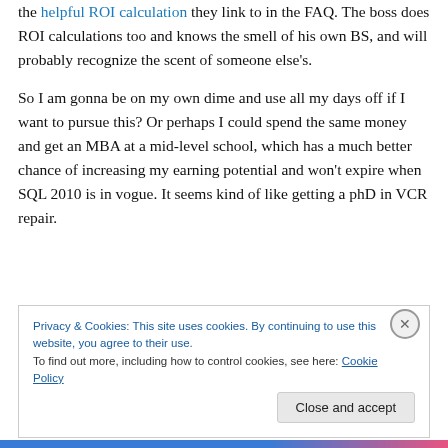the helpful ROI calculation they link to in the FAQ. The boss does ROI calculations too and knows the smell of his own BS, and will probably recognize the scent of someone else's.
So I am gonna be on my own dime and use all my days off if I want to pursue this? Or perhaps I could spend the same money and get an MBA at a mid-level school, which has a much better chance of increasing my earning potential and won't expire when SQL 2010 is in vogue. It seems kind of like getting a phD in VCR repair.
Privacy & Cookies: This site uses cookies. By continuing to use this website, you agree to their use. To find out more, including how to control cookies, see here: Cookie Policy